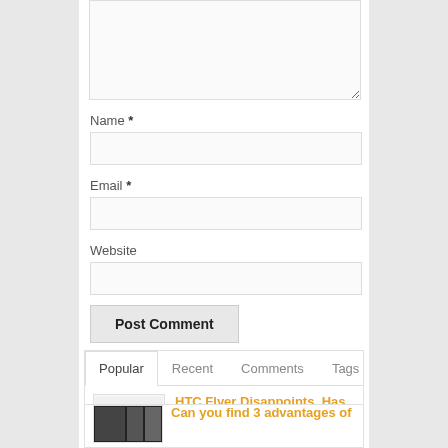Name *
Email *
Website
Post Comment
Popular | Recent | Comments | Tags
HTC Flyer Disappoints. Has HTC Lost Its Innovative Touch?
January 25, 2011
Can you find 3 advantages of